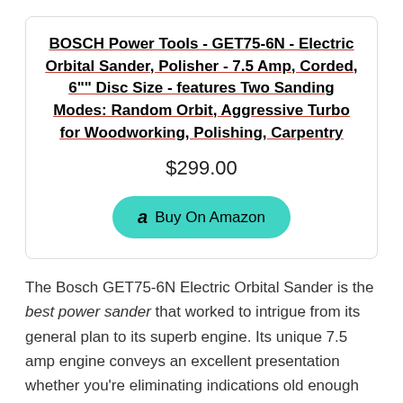BOSCH Power Tools - GET75-6N - Electric Orbital Sander, Polisher - 7.5 Amp, Corded, 6" Disc Size - features Two Sanding Modes: Random Orbit, Aggressive Turbo for Woodworking, Polishing, Carpentry
$299.00
Buy On Amazon
The Bosch GET75-6N Electric Orbital Sander is the best power sander that worked to intrigue from its general plan to its superb engine. Its unique 7.5 amp engine conveys an excellent presentation whether you're eliminating indications old enough on a cedar workpiece or simply giving your fresh-out-of-the-box